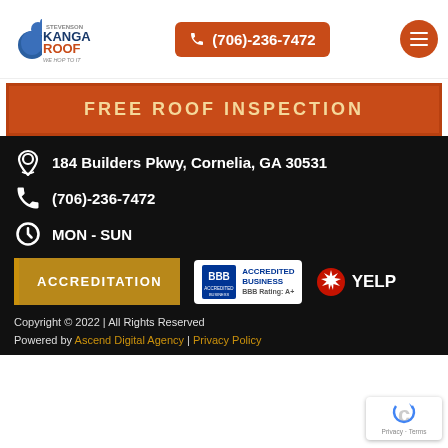[Figure (logo): Kanga Roof logo with kangaroo mascot and tagline 'We Hop To It']
(706)-236-7472
FREE ROOF INSPECTION
184 Builders Pkwy, Cornelia, GA 30531
(706)-236-7472
MON - SUN
ACCREDITATION
[Figure (logo): BBB Accredited Business badge with BBB Rating: A+]
[Figure (logo): Yelp logo with burst icon]
Copyright © 2022 | All Rights Reserved
Powered by Ascend Digital Agency | Privacy Policy